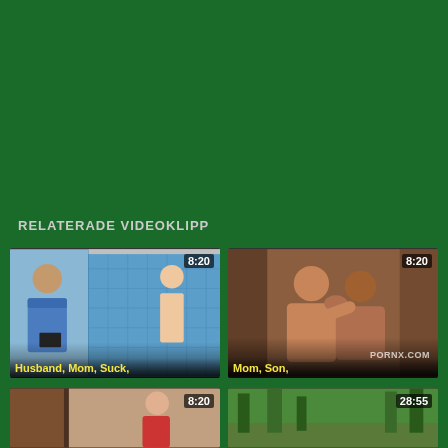RELATERADE VIDEOKLIPP
[Figure (screenshot): Video thumbnail showing man and woman in shower scene, duration 8:20, labeled 'Husband, Mom, Suck,']
[Figure (screenshot): Video thumbnail showing two women kissing, duration 8:20, labeled 'Mom, Son,' with PORNX.COM watermark]
[Figure (screenshot): Video thumbnail partial, duration 8:20]
[Figure (screenshot): Video thumbnail partial, duration 28:55]